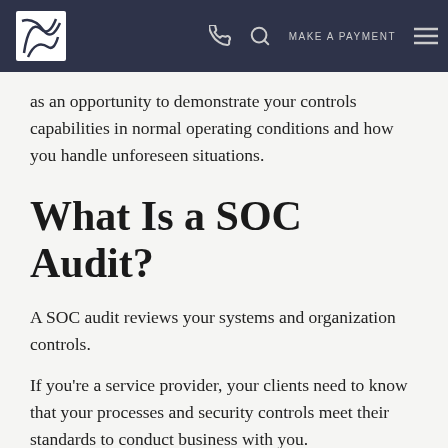Navigation bar with logo, phone icon, search icon, MAKE A PAYMENT, menu icon
as an opportunity to demonstrate your controls capabilities in normal operating conditions and how you handle unforeseen situations.
What Is a SOC Audit?
A SOC audit reviews your systems and organization controls.
If you're a service provider, your clients need to know that your processes and security controls meet their standards to conduct business with you.
And as a company, you should know the strengths and weaknesses of your service providers to ensure they don't